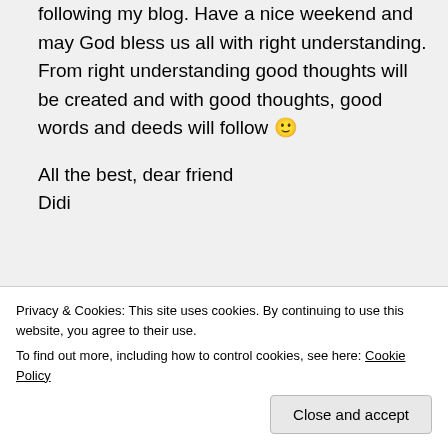following my blog. Have a nice weekend and may God bless us all with right understanding. From right understanding good thoughts will be created and with good thoughts, good words and deeds will follow 🙂

All the best, dear friend
Didi
★ Liked by 3 people
Privacy & Cookies: This site uses cookies. By continuing to use this website, you agree to their use.
To find out more, including how to control cookies, see here: Cookie Policy